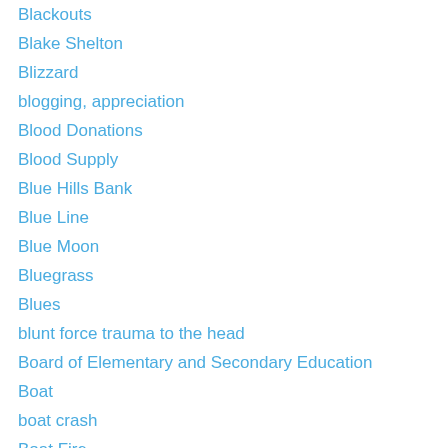Blackouts
Blake Shelton
Blizzard
blogging, appreciation
Blood Donations
Blood Supply
Blue Hills Bank
Blue Line
Blue Moon
Bluegrass
Blues
blunt force trauma to the head
Board of Elementary and Secondary Education
Boat
boat crash
Boat Fire
boat operator rescued
Boat Rescue
Boat Tour
Boating